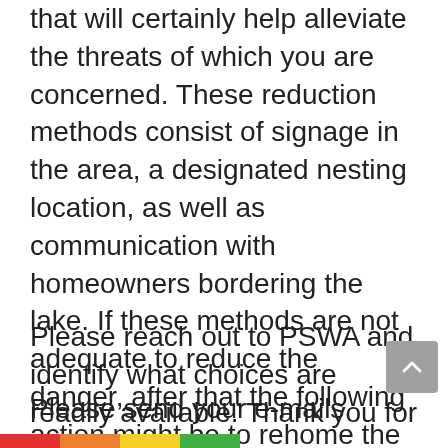that will certainly help alleviate the threats of which you are concerned. These reduction methods consist of signage in the area, a designated nesting location, as well as communication with homeowners bordering the lake. If these methods are not adequate to reduce the danger, after that the following action might be to rehome the swan at a wild animals center.
Please reach out to PSWA and identify what choices are readily available. Thank you for your time.
Please send your e-mails today to: jan.vanwilligen1@gmail.com,